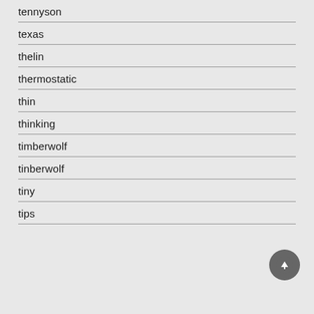tennyson
texas
thelin
thermostatic
thin
thinking
timberwolf
tinberwolf
tiny
tips